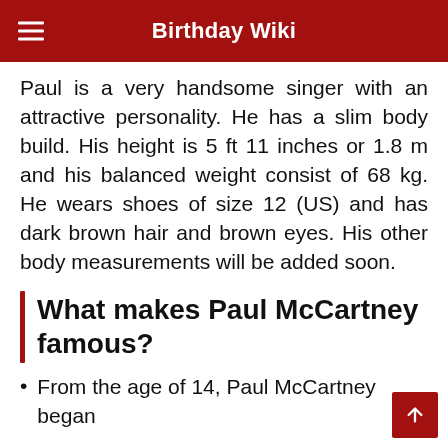Birthday Wiki
Paul is a very handsome singer with an attractive personality. He has a slim body build. His height is 5 ft 11 inches or 1.8 m and his balanced weight consist of 68 kg. He wears shoes of size 12 (US) and has dark brown hair and brown eyes. His other body measurements will be added soon.
What makes Paul McCartney famous?
From the age of 14, Paul McCartney began